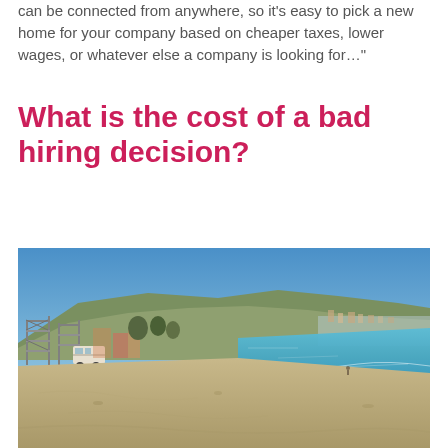can be connected from anywhere, so it's easy to pick a new home for your company based on cheaper taxes, lower wages, or whatever else a company is looking for…"
What is the cost of a bad hiring decision?
[Figure (photo): A sandy Mediterranean beach with clear blue sky. Hills and a coastal town are visible in the background. Some construction scaffolding and a caravan/camper are on the left side near the beach. The sea is turquoise-blue on the right.]